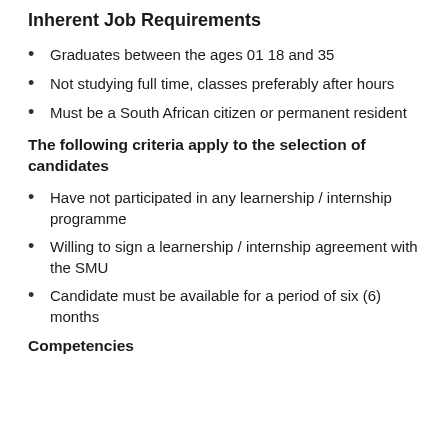Inherent Job Requirements
Graduates between the ages 01 18 and 35
Not studying full time, classes preferably after hours
Must be a South African citizen or permanent resident
The following criteria apply to the selection of candidates
Have not participated in any learnership / internship programme
Willing to sign a learnership / internship agreement with the SMU
Candidate must be available for a period of six (6) months
Competencies